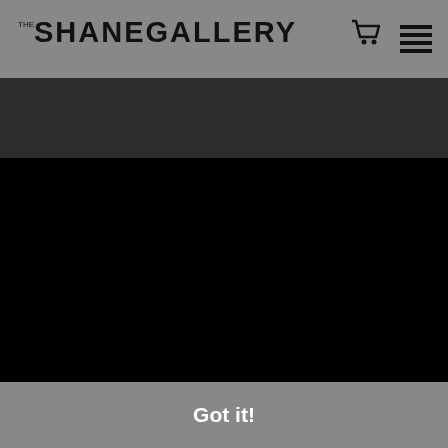THE SHANE GALLERY
Info
© Copyright 2022
All Rights Reserved
seelikeshane
Hawthorne, CA 90250
This website uses cookies to ensure you get the best experience on our website.
Got it!